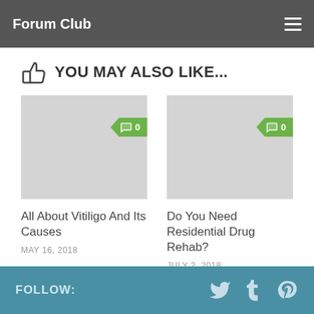Forum Club
YOU MAY ALSO LIKE...
[Figure (screenshot): Gray placeholder image for article 'All About Vitiligo And Its Causes' with green comment badge showing 0 comments]
All About Vitiligo And Its Causes
MAY 16, 2018
[Figure (screenshot): Gray placeholder image for article 'Do You Need Residential Drug Rehab?' with green comment badge showing 0 comments]
Do You Need Residential Drug Rehab?
JULY 2, 2018
FOLLOW: